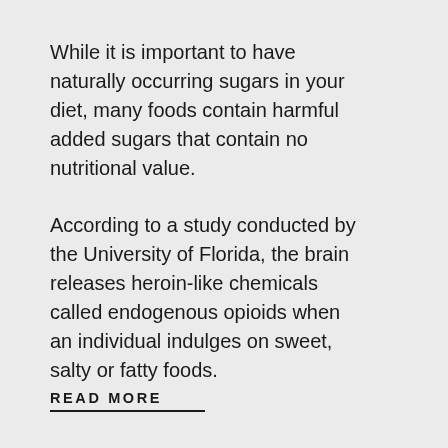While it is important to have naturally occurring sugars in your diet, many foods contain harmful added sugars that contain no nutritional value.
According to a study conducted by the University of Florida, the brain releases heroin-like chemicals called endogenous opioids when an individual indulges on sweet, salty or fatty foods.
READ MORE